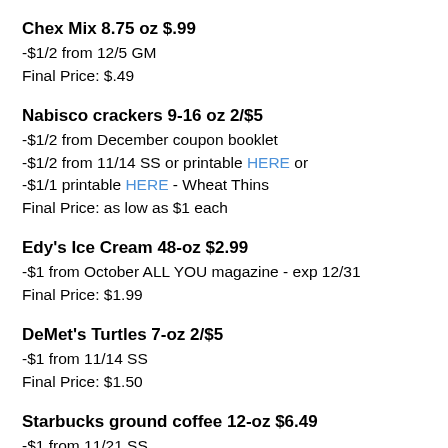Chex Mix 8.75 oz $.99
-$1/2 from 12/5 GM
Final Price: $.49
Nabisco crackers 9-16 oz 2/$5
-$1/2 from December coupon booklet
-$1/2 from 11/14 SS or printable HERE or
-$1/1 printable HERE - Wheat Thins
Final Price: as low as $1 each
Edy's Ice Cream 48-oz $2.99
-$1 from October ALL YOU magazine - exp 12/31
Final Price: $1.99
DeMet's Turtles 7-oz 2/$5
-$1 from 11/14 SS
Final Price: $1.50
Starbucks ground coffee 12-oz $6.49
-$1 from 11/21 SS